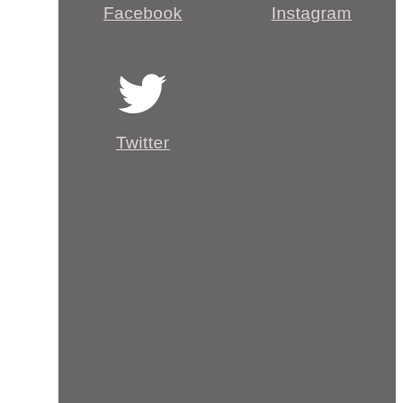Facebook
Instagram
[Figure (logo): Twitter bird logo icon in white]
Twitter